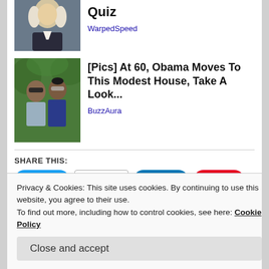[Figure (photo): Thumbnail image of historical figure with white wig and dark coat]
Quiz
WarpedSpeed
[Figure (photo): Thumbnail image of two people outdoors, one wearing sunglasses]
[Pics] At 60, Obama Moves To This Modest House, Take A Look...
BuzzAura
SHARE THIS:
Tweet | Email | Share | Save | More
Privacy & Cookies: This site uses cookies. By continuing to use this website, you agree to their use.
To find out more, including how to control cookies, see here: Cookie Policy
Close and accept